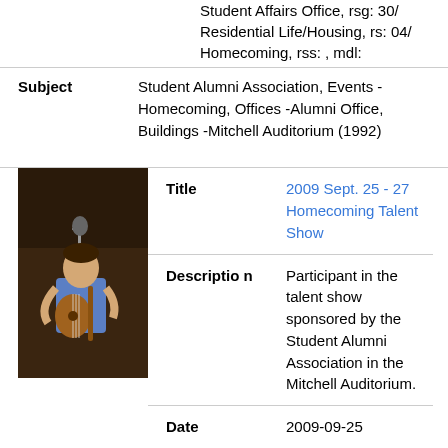Student Affairs Office, rsg: 30/ Residential Life/Housing, rs: 04/ Homecoming, rss: , mdl:
Subject
Student Alumni Association, Events - Homecoming, Offices -Alumni Office, Buildings -Mitchell Auditorium (1992)
[Figure (photo): Person playing guitar on stage with microphone]
Title
2009 Sept. 25 - 27 Homecoming Talent Show
Description
Participant in the talent show sponsored by the Student Alumni Association in the Mitchell Auditorium.
Date
2009-09-25
Identifier
CSSrepository:13505, rg: 18/ Student Affairs Office, rsg: 30/